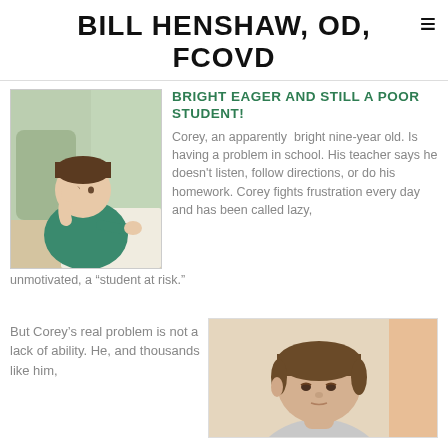BILL HENSHAW, OD, FCOVD
BRIGHT EAGER AND STILL A POOR STUDENT!
[Figure (photo): Young boy leaning on desk with hand on face, appearing frustrated while doing schoolwork]
Corey, an apparently bright nine-year old. Is having a problem in school. His teacher says he doesn't listen, follow directions, or do his homework. Corey fights frustration every day and has been called lazy, unmotivated, a “student at risk.”
But Corey’s real problem is not a lack of ability. He, and thousands like him,
[Figure (photo): Young boy with brown hair looking down, concentrating or reading]